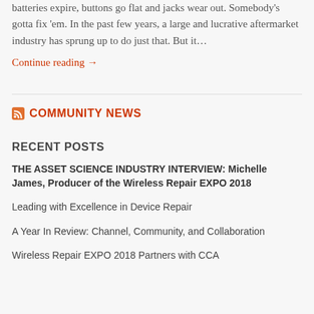batteries expire, buttons go flat and jacks wear out. Somebody's gotta fix 'em. In the past few years, a large and lucrative aftermarket industry has sprung up to do just that. But it…
Continue reading →
COMMUNITY NEWS
RECENT POSTS
THE ASSET SCIENCE INDUSTRY INTERVIEW: Michelle James, Producer of the Wireless Repair EXPO 2018
Leading with Excellence in Device Repair
A Year In Review: Channel, Community, and Collaboration
Wireless Repair EXPO 2018 Partners with CCA